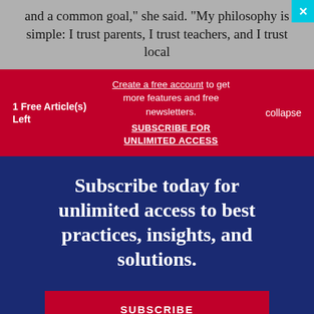and a common goal," she said. "My philosophy is simple: I trust parents, I trust teachers, and I trust local
1 Free Article(s) Left
Create a free account to get more features and free newsletters. SUBSCRIBE FOR UNLIMITED ACCESS
collapse
Subscribe today for unlimited access to best practices, insights, and solutions.
SUBSCRIBE